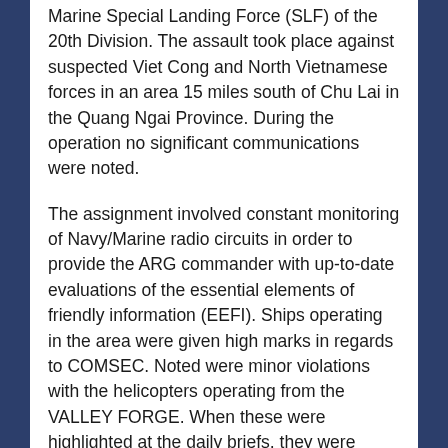Marine Special Landing Force (SLF) of the 20th Division. The assault took place against suspected Viet Cong and North Vietnamese forces in an area 15 miles south of Chu Lai in the Quang Ngai Province. During the operation no significant communications were noted.
The assignment involved constant monitoring of Navy/Marine radio circuits in order to provide the ARG commander with up-to-date evaluations of the essential elements of friendly information (EEFI). Ships operating in the area were given high marks in regards to COMSEC. Noted were minor violations with the helicopters operating from the VALLEY FORGE. When these were highlighted at the daily briefs, they were quickly corrected. After a short time, the DIRSUP team returned to the VALLEY FORGE to operate in the water around Danang, Viet Nam.